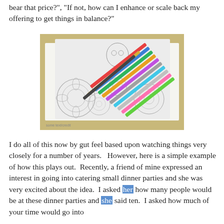bear that price?", "If not, how can I enhance or scale back my offering to get things in balance?"
[Figure (photo): Coloring book pages spread out on a table with multiple colored pencils and markers scattered on top of them, showing intricate mandala and nature designs.]
I do all of this now by gut feel based upon watching things very closely for a number of years.   However, here is a simple example of how this plays out.  Recently, a friend of mine expressed an interest in going into catering small dinner parties and she was very excited about the idea.  I asked her how many people would be at these dinner parties and she said ten.  I asked how much of your time would go into